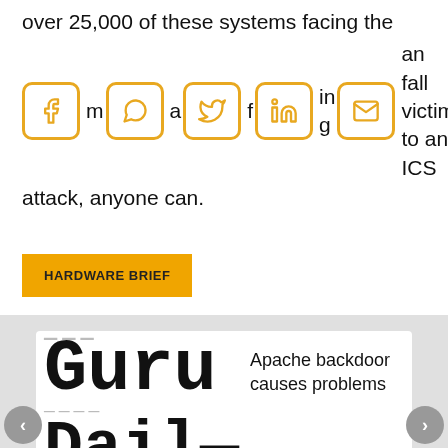over 25,000 of these systems facing the internet of going, anyone can fall victim to an ICS attack, anyone can.
[Figure (other): Social sharing icons: Facebook, WhatsApp, Twitter, LinkedIn, Email — gold/amber bordered square icons]
HARDWARE BRIEF
[Figure (screenshot): Carousel widget showing Guru Daily publication logo in large typewriter font with two article headlines: 'Apache backdoor causes problems' and 'Sony in profit but all is not well'. Left and right navigation arrows visible.]